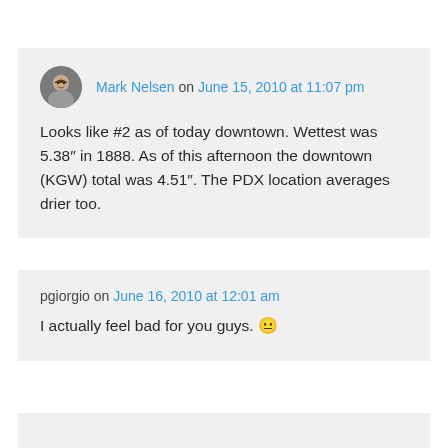Mark Nelsen on June 15, 2010 at 11:07 pm
Looks like #2 as of today downtown. Wettest was 5.38" in 1888. As of this afternoon the downtown (KGW) total was 4.51". The PDX location averages drier too.
pgiorgio on June 16, 2010 at 12:01 am
I actually feel bad for you guys. 😐